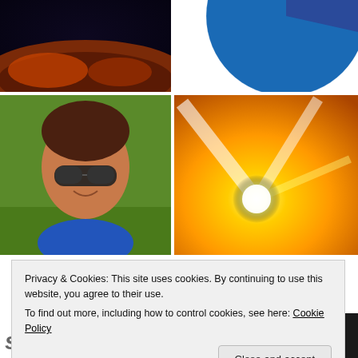[Figure (photo): Dark space/planetary landscape image with reddish terrain at bottom]
[Figure (pie-chart): Blue pie/donut chart partially visible at top right]
[Figure (photo): Woman with short brown hair and large sunglasses outdoors on grass]
[Figure (photo): Bright sunburst with orange and yellow rays on warm background]
Privacy & Cookies: This site uses cookies. By continuing to use this website, you agree to their use.
To find out more, including how to control cookies, see here: Cookie Policy
Close and accept
s Ordinary